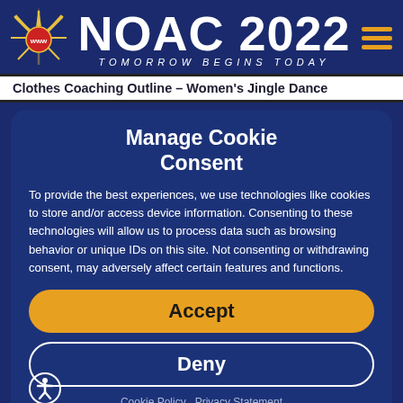[Figure (logo): NOAC 2022 website header with star burst logo reading 'www', large white text 'NOAC 2022', italic subtitle 'TOMORROW BEGINS TODAY', and yellow hamburger menu icon]
Clothes Coaching Outline – Women's Jingle Dance
Manage Cookie Consent
To provide the best experiences, we use technologies like cookies to store and/or access device information. Consenting to these technologies will allow us to process data such as browsing behavior or unique IDs on this site. Not consenting or withdrawing consent, may adversely affect certain features and functions.
Accept
Deny
Cookie Policy  Privacy Statement